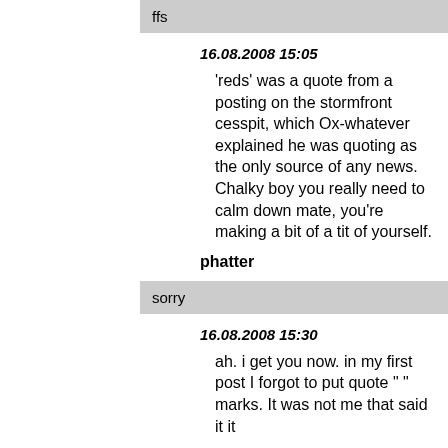ffs
16.08.2008 15:05
'reds' was a quote from a posting on the stormfront cesspit, which Ox-whatever explained he was quoting as the only source of any news. Chalky boy you really need to calm down mate, you're making a bit of a tit of yourself.
phatter
sorry
16.08.2008 15:30
ah. i get you now. in my first post I forgot to put quote " " marks. It was not me that said it it